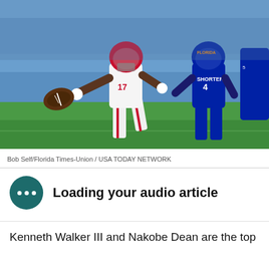[Figure (photo): Football action photo: Georgia player #17 in white uniform reaching for a football, with Florida player SHORTER #4 in blue uniform nearby, on a green field with stadium crowd in background.]
Bob Self/Florida Times-Union / USA TODAY NETWORK
Loading your audio article
Kenneth Walker III and Nakobe Dean are the top